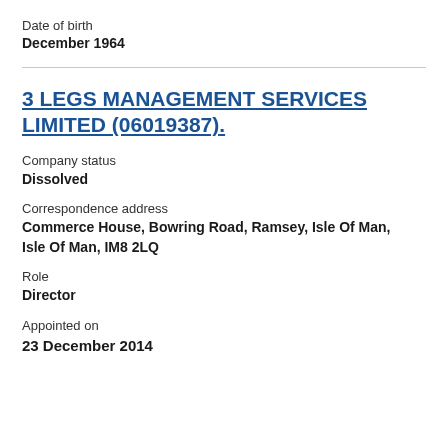Date of birth
December 1964
3 LEGS MANAGEMENT SERVICES LIMITED (06019387)
Company status
Dissolved
Correspondence address
Commerce House, Bowring Road, Ramsey, Isle Of Man, Isle Of Man, IM8 2LQ
Role
Director
Appointed on
23 December 2014